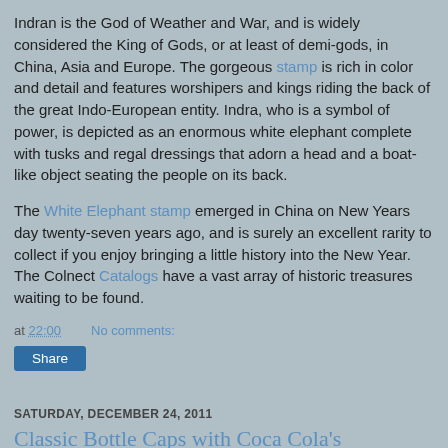Indran is the God of Weather and War, and is widely considered the King of Gods, or at least of demi-gods, in China, Asia and Europe. The gorgeous stamp is rich in color and detail and features worshipers and kings riding the back of the great Indo-European entity. Indra, who is a symbol of power, is depicted as an enormous white elephant complete with tusks and regal dressings that adorn a head and a boat-like object seating the people on its back.
The White Elephant stamp emerged in China on New Years day twenty-seven years ago, and is surely an excellent rarity to collect if you enjoy bringing a little history into the New Year. The Colnect Catalogs have a vast array of historic treasures waiting to be found.
at 22:00    No comments:
Share
SATURDAY, DECEMBER 24, 2011
Classic Bottle Caps with Coca Cola's